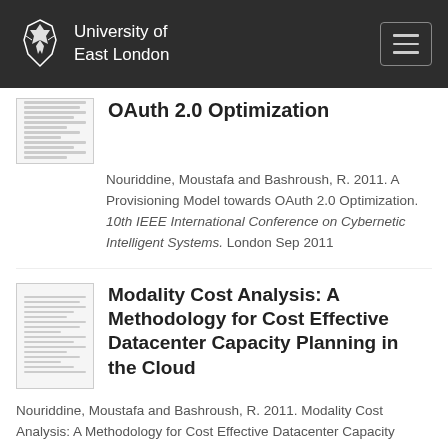University of East London
OAuth 2.0 Optimization
Nouriddine, Moustafa and Bashroush, R. 2011. A Provisioning Model towards OAuth 2.0 Optimization. 10th IEEE International Conference on Cybernetic Intelligent Systems. London Sep 2011
Modality Cost Analysis: A Methodology for Cost Effective Datacenter Capacity Planning in the Cloud
Nouriddine, Moustafa and Bashroush, R. 2011. Modality Cost Analysis: A Methodology for Cost Effective Datacenter Capacity Planning in the Cloud.